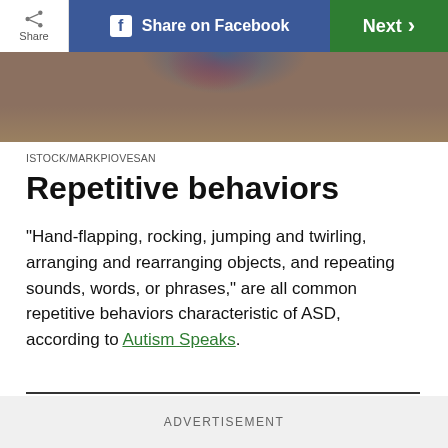[Figure (screenshot): Top navigation bar with Share button, Share on Facebook button (blue), and Next button (green)]
[Figure (photo): Partial photo showing bottom of a child with blue and red clothing sitting on a wooden floor, photo credit ISTOCK/MARKPIOVESAN]
ISTOCK/MARKPIOVESAN
Repetitive behaviors
“Hand-flapping, rocking, jumping and twirling, arranging and rearranging objects, and repeating sounds, words, or phrases,” are all common repetitive behaviors characteristic of ASD, according to Autism Speaks.
ADVERTISEMENT